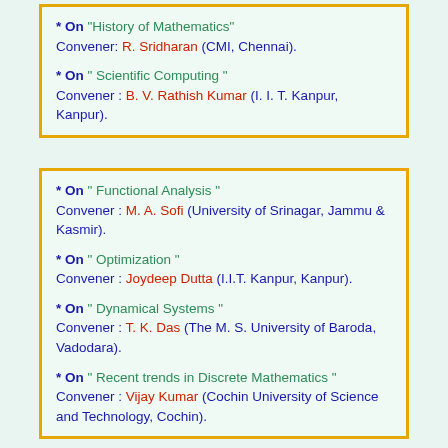* On "History of Mathematics" Convener: R. Sridharan (CMI, Chennai).

* On " Scientific Computing " Convener : B. V. Rathish Kumar (I. I. T. Kanpur, Kanpur).
* On " Functional Analysis " Convener : M. A. Sofi (University of Srinagar, Jammu & Kasmir).

* On " Optimization " Convener : Joydeep Dutta (I.I.T. Kanpur, Kanpur).

* On " Dynamical Systems " Convener : T. K. Das (The M. S. University of Baroda, Vadodara).

* On " Recent trends in Discrete Mathematics " Convener : Vijay Kumar (Cochin University of Science and Technology, Cochin).